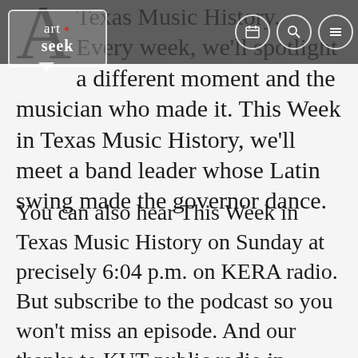[Figure (screenshot): ArtSeek logo overlay with navigation bar containing calendar, search, and menu icons]
Texas Music History. Every week, we'll spotlight a different moment and the musician who made it. This Week in Texas Music History, we'll meet a band leader whose Latin swing made the governor dance.
You can also hear This Week in Texas Music History on Sunday at precisely 6:04 p.m. on KERA radio. But subscribe to the podcast so you won't miss an episode. And our thanks to KUT public radio in Austin for helping us bring this segment to you. And if you're a music lover, be sure to check out Track by Track, the podcast from Paul Slavens, host of KXT's The Paul Slavens Show, heard Sunday night's at 8...